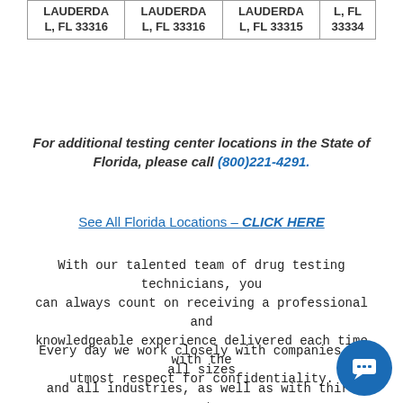| LAUDERDALE, FL 33316 | LAUDERDALE, FL 33316 | LAUDERDALE, FL 33315 | L, FL 33334 |
For additional testing center locations in the State of Florida, please call (800)221-4291.
See All Florida Locations – CLICK HERE
With our talented team of drug testing technicians, you can always count on receiving a professional and knowledgeable experience delivered each time with the utmost respect for confidentiality.
Every day we work closely with companies of all sizes and all industries, as well as with third party administrators and individuals in need of a drug test the Fort Lauderdale area. Our comprehensive portfolio of drug testing Fort Lauderdale and alco...